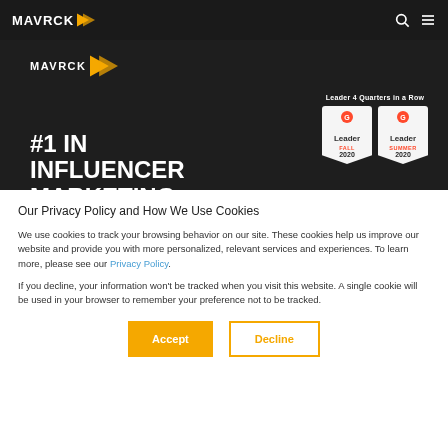MAVRCK
[Figure (screenshot): MAVRCK website hero banner showing '#1 IN INFLUENCER MARKETING' with G2 Leader badges for Fall 2020 and Summer 2020, stating 'Leader 4 Quarters in a Row']
Our Privacy Policy and How We Use Cookies
We use cookies to track your browsing behavior on our site. These cookies help us improve our website and provide you with more personalized, relevant services and experiences. To learn more, please see our Privacy Policy.
If you decline, your information won't be tracked when you visit this website. A single cookie will be used in your browser to remember your preference not to be tracked.